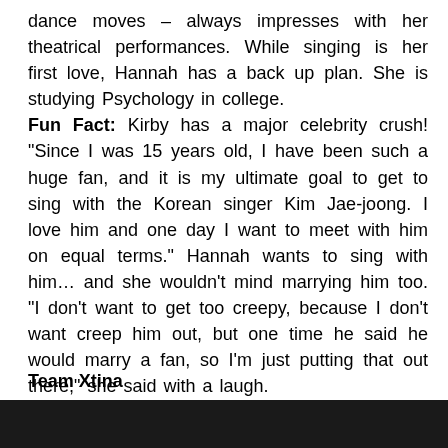dance moves – always impresses with her theatrical performances. While singing is her first love, Hannah has a back up plan. She is studying Psychology in college. Fun Fact: Kirby has a major celebrity crush! "Since I was 15 years old, I have been such a huge fan, and it is my ultimate goal to get to sing with the Korean singer Kim Jae-joong. I love him and one day I want to meet with him on equal terms." Hannah wants to sing with him… and she wouldn't mind marrying him too. "I don't want to get too creepy, because I don't want creep him out, but one time he said he would marry a fan, so I'm just putting that out there," she said with a laugh.
Team Xtina
[Figure (photo): Dark photograph at bottom of page, partially visible]